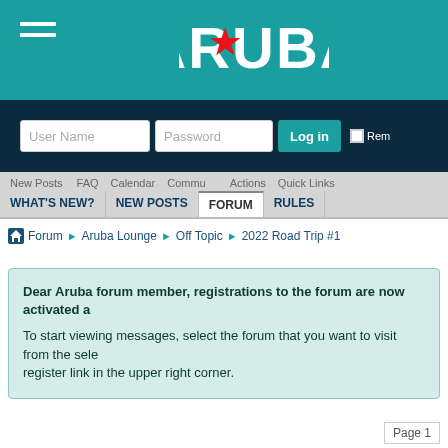[Figure (logo): Aruba logo with red star on teal background]
[Figure (screenshot): Login form with User Name and Password fields and Log in button]
WHAT'S NEW? | NEW POSTS | FORUM | RULES
Forum > Aruba Lounge > Off Topic > 2022 Road Trip #1
Dear Aruba forum member, registrations to the forum are now activated a
To start viewing messages, select the forum that you want to visit from the selection below. You may have to register link in the upper right corner.
Page 1